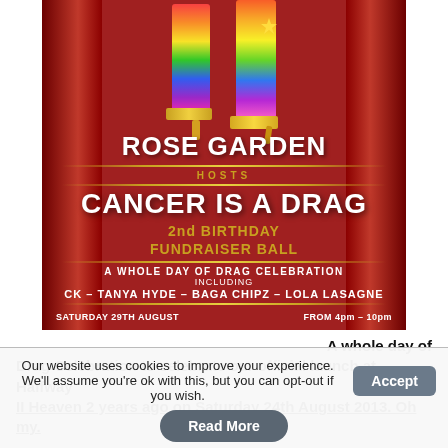[Figure (illustration): Event poster on red curtain background showing rainbow sequin legs/heels. Text reads: ROSE GARDEN HOSTS CANCER IS A DRAG 2nd BIRTHDAY FUNDRAISER BALL. A WHOLE DAY OF DRAG CELEBRATION INCLUDING CK - TANYA HYDE - BAGA CHIPZ - LOLA LASAGNE. SATURDAY 29TH AUGUST FROM 4pm - 10pm]
A whole day of Drag Celebration to celebrate our official launch at Halfway II Heaven 2 years ago on Saturday 24th August 2013. Oh my.
Our website uses cookies to improve your experience. We'll assume you're ok with this, but you can opt-out if you wish. Accept
Read More